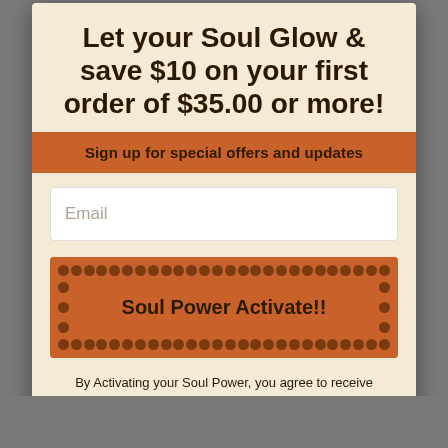Let your Soul Glow & save $10 on your first order of $35.00 or more!
Sign up for special offers and updates
Email
Soul Power Activate!!
By Activating your Soul Power, you agree to receive promotions and special offers via email.
No, thanks